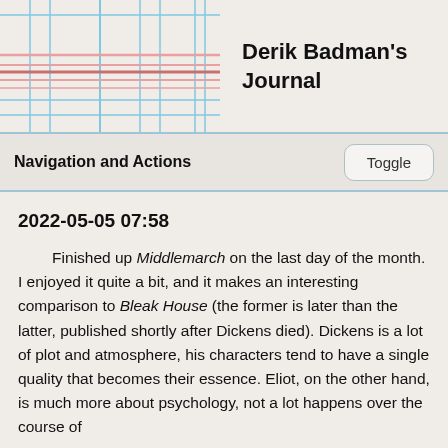[Figure (illustration): Abstract grid/plaid pattern with blue vertical and horizontal lines and pink/red horizontal lines on a beige background, forming a decorative header graphic.]
Derik Badman's Journal
Navigation and Actions
Toggle
2022-05-05 07:58
Finished up Middlemarch on the last day of the month. I enjoyed it quite a bit, and it makes an interesting comparison to Bleak House (the former is later than the latter, published shortly after Dickens died). Dickens is a lot of plot and atmosphere, his characters tend to have a single quality that becomes their essence. Eliot, on the other hand, is much more about psychology, not a lot happens over the course of